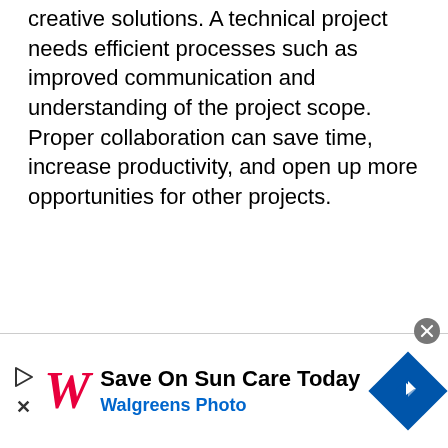creative solutions. A technical project needs efficient processes such as improved communication and understanding of the project scope. Proper collaboration can save time, increase productivity, and open up more opportunities for other projects.
[Figure (screenshot): Advertisement banner for Walgreens Photo: 'Save On Sun Care Today' with Walgreens logo (red cursive W), play button, close button (X), close circle button (gray), and blue diamond navigation icon.]